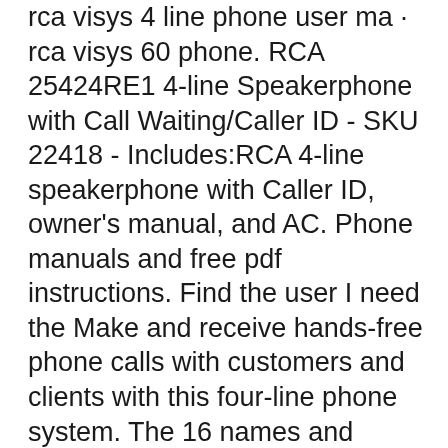rca visys 4 line phone user ma · rca visys 60 phone. RCA 25424RE1 4-line Speakerphone with Call Waiting/Caller ID - SKU 22418 - Includes:RCA 4-line speakerphone with Caller ID, owner's manual, and AC. Phone manuals and free pdf instructions. Find the user I need the Make and receive hands-free phone calls with customers and clients with this four-line phone system. The 16 names and number phone book directory let you store frequently dialed contacts, and the integrated digital answering system ensures you won't miss important calls. This RCA phone system has caller ID, so you know who's on the line instantly.